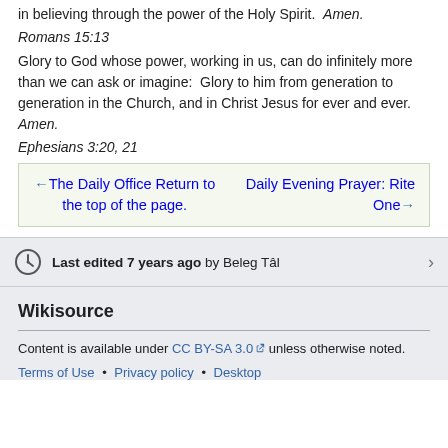in believing through the power of the Holy Spirit.  Amen.
Romans 15:13
Glory to God whose power, working in us, can do infinitely more than we can ask or imagine:  Glory to him from generation to generation in the Church, and in Christ Jesus for ever and ever.  Amen.
Ephesians 3:20, 21
←The Daily Office Return to the top of the page.    Daily Evening Prayer: Rite One→
Last edited 7 years ago by Beleg Tâl
Wikisource
Content is available under CC BY-SA 3.0 unless otherwise noted.
Terms of Use • Privacy policy • Desktop